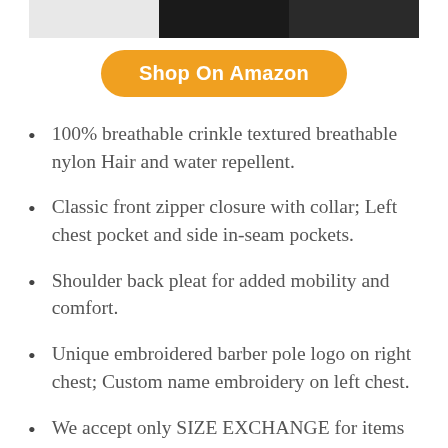[Figure (photo): Partial view of product images at the top — white/gray product on left, dark product in center, dark product on right]
Shop On Amazon
100% breathable crinkle textured breathable nylon Hair and water repellent.
Classic front zipper closure with collar; Left chest pocket and side in-seam pockets.
Shoulder back pleat for added mobility and comfort.
Unique embroidered barber pole logo on right chest; Custom name embroidery on left chest.
We accept only SIZE EXCHANGE for items with custom name embroidery